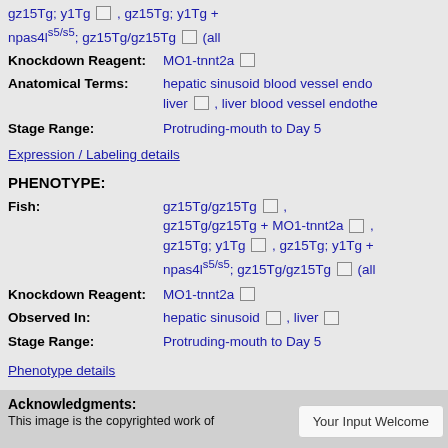gz15Tg; y1Tg , gz15Tg; y1Tg + npas4ls5/s5; gz15Tg/gz15Tg (all...
Knockdown Reagent: MO1-tnnt2a
Anatomical Terms: hepatic sinusoid blood vessel endo... liver , liver blood vessel endothe...
Stage Range: Protruding-mouth to Day 5
Expression / Labeling details
PHENOTYPE:
Fish: gz15Tg/gz15Tg , gz15Tg/gz15Tg + MO1-tnnt2a , gz15Tg; y1Tg , gz15Tg; y1Tg + npas4ls5/s5; gz15Tg/gz15Tg (all...
Knockdown Reagent: MO1-tnnt2a
Observed In: hepatic sinusoid , liver
Stage Range: Protruding-mouth to Day 5
Phenotype details
Acknowledgments:
This image is the copyrighted work of...
Your Input Welcome